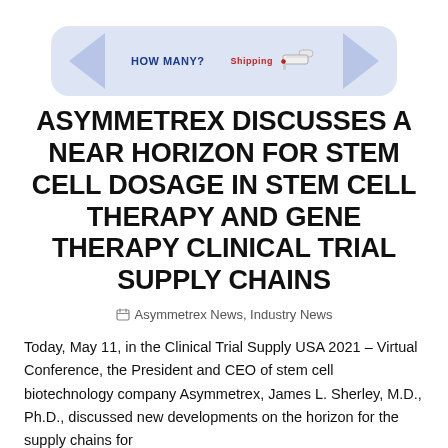[Figure (infographic): Infographic banner showing a blue rounded rectangle with left-pointing arrow labeled HOW MANY?, right-pointing arrow, text Shipping in red, and a syringe icon]
ASYMMETREX DISCUSSES A NEAR HORIZON FOR STEM CELL DOSAGE IN STEM CELL THERAPY AND GENE THERAPY CLINICAL TRIAL SUPPLY CHAINS
Asymmetrex News, Industry News
Today, May 11, in the Clinical Trial Supply USA 2021 – Virtual Conference, the President and CEO of stem cell biotechnology company Asymmetrex, James L. Sherley, M.D., Ph.D., discussed new developments on the horizon for the supply chains for